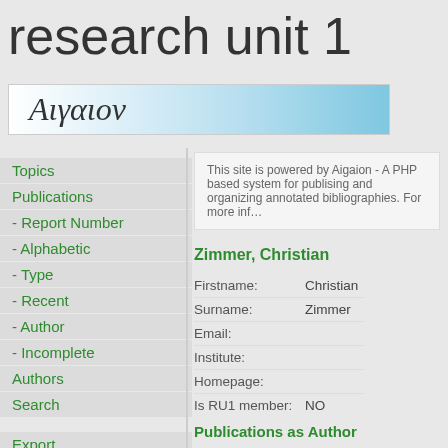research unit 1
[Figure (logo): Aigaion Greek logo with gradient blue background showing text 'Αιγαιον' in italic serif font]
Topics
Publications
- Report Number
- Alphabetic
- Type
- Recent
- Author
- Incomplete
Authors
Search
Export
Topic review
Help
This site is powered by Aigaion - A PHP based system for publising and organizing annotated bibliographies. For more info...
Zimmer, Christian
| Field | Value |
| --- | --- |
| Firstname: | Christian |
| Surname: | Zimmer |
| Email: |  |
| Institute: |  |
| Homepage: |  |
| Is RU1 member: | NO |
Publications as Author